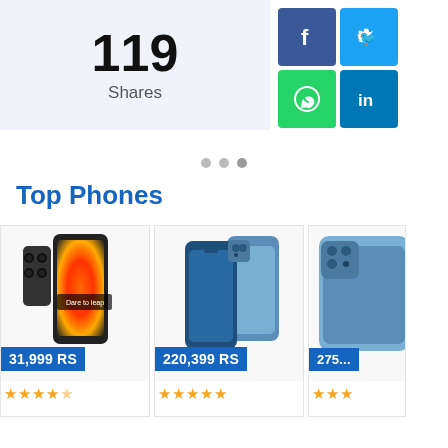119
Shares
[Figure (other): Social media share icons: Facebook (blue), Twitter (light blue), WhatsApp (green), LinkedIn (blue)]
[Figure (other): Carousel pagination dots (3 dots)]
Top Phones
[Figure (other): Phone product card: dark phone with colorful abstract back, price 31,999 RS, star rating]
[Figure (other): Phone product card: blue iPhone 13, price 220,399 RS, star rating]
[Figure (other): Phone product card: blue iPhone 13 Pro (partial), price 275... RS, star rating]